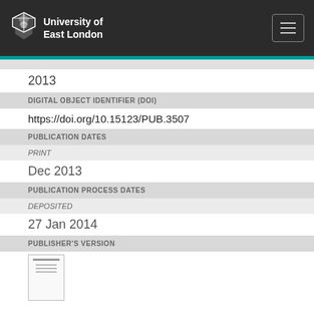University of East London
2013
DIGITAL OBJECT IDENTIFIER (DOI)
https://doi.org/10.15123/PUB.3507
PUBLICATION DATES
PRINT
Dec 2013
PUBLICATION PROCESS DATES
DEPOSITED
27 Jan 2014
PUBLISHER'S VERSION
[Figure (photo): Thumbnail image of publisher's version document]